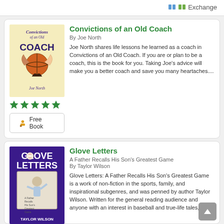Exchange
Convictions of an Old Coach
By Joe North
Joe North shares life lessons he learned as a coach in Convictions of an Old Coach. If you are or plan to be a coach, this is the book for you. Taking Joe's advice will make you a better coach and save you many heartaches....
[Figure (other): Five green star rating icons]
Free Book
Glove Letters
A Father Recalls His Son's Greatest Game
By Taylor Wilson
Glove Letters: A Father Recalls His Son's Greatest Game is a work of non-fiction in the sports, family, and inspirational subgenres, and was penned by author Taylor Wilson. Written for the general reading audience and anyone with an interest in baseball and true-life tales, this...